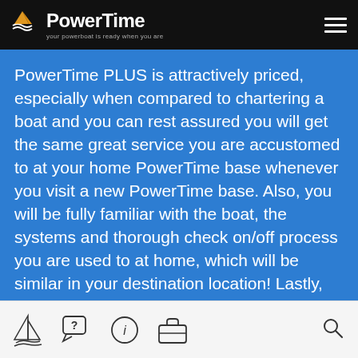PowerTime — your powerboat is ready when you are
PowerTime PLUS is attractively priced, especially when compared to chartering a boat and you can rest assured you will get the same great service you are accustomed to at your home PowerTime base whenever you visit a new PowerTime base. Also, you will be fully familiar with the boat, the systems and thorough check on/off process you are used to at home, which will be similar in your destination location! Lastly, you will experience one-to-one attention from our PowerTime Base Manager and not just be a “one of the crowd”
Navigation icons: sail, chat/help, info, briefcase, search